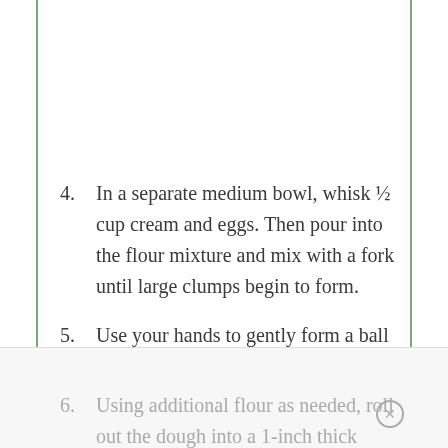4. In a separate medium bowl, whisk ½ cup cream and eggs. Then pour into the flour mixture and mix with a fork until large clumps begin to form.
5. Use your hands to gently form a ball then flatten it into a 7-inch disc. Cover the dough in clear plastic wrap. Refrigerate for 30 minutes.
6. Using additional flour as needed, roll out the dough into a 1-inch thick disc.